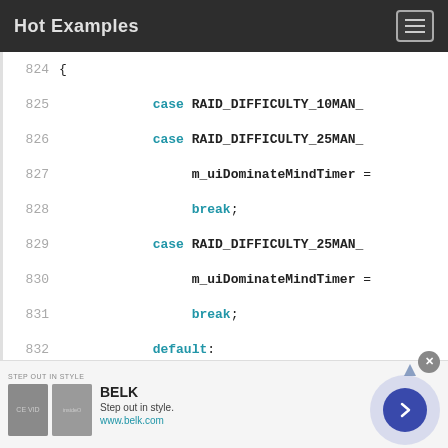Hot Examples
[Figure (screenshot): Source code listing showing lines 824-838 of a C++ switch statement dealing with RAID_DIFFICULTY constants and m_uiDominateMindTimer variable assignments]
[Figure (other): Advertisement banner for BELK department store: 'Step out in style.' www.belk.com]